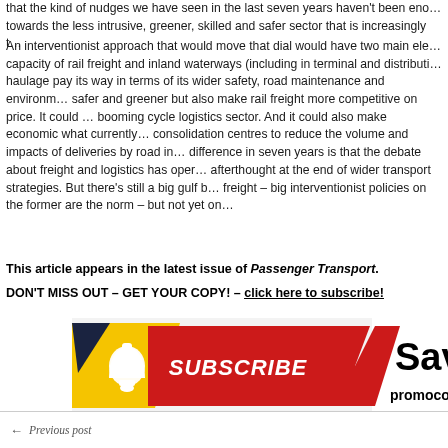that the kind of nudges we have seen in the last seven years haven't been enough towards the less intrusive, greener, skilled and safer sector that is increasingly...
An interventionist approach that would move that dial would have two main elements: capacity of rail freight and inland waterways (including in terminal and distribution hub) haulage pay its way in terms of its wider safety, road maintenance and environmental safer and greener but also make rail freight more competitive on price. It could booming cycle logistics sector. And it could also make economic what currently consolidation centres to reduce the volume and impacts of deliveries by road in difference in seven years is that the debate about freight and logistics has opened afterthought at the end of wider transport strategies. But there's still a big gulf freight – big interventionist policies on the former are the norm – but not yet on
This article appears in the latest issue of Passenger Transport.
DON'T MISS OUT – GET YOUR COPY! – click here to subscribe!
[Figure (illustration): Subscribe banner with yellow and dark navy triangle chevron design, red ribbon with white SUBSCRIBE text and a bell icon. To the right: bold text 'Save' and 'promocod']
Previous post